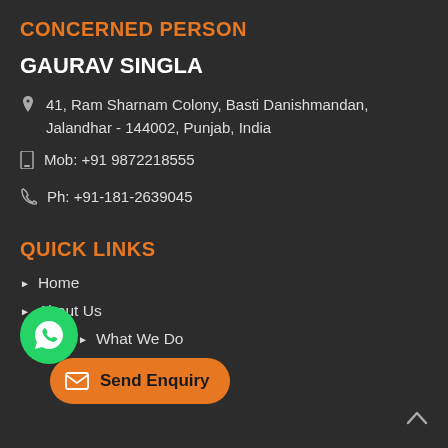CONCERNED PERSON
GAURAV SINGLA
41, Ram Sharnam Colony, Basti Danishmandan, Jalandhar - 144002, Punjab, India
Mob: +91 9872218555
Ph: +91-181-2639045
QUICK LINKS
Home
About Us
What We Do
Sports Balls
Sports Bags
Sports Clothing
Awards and Achievement
Blogs